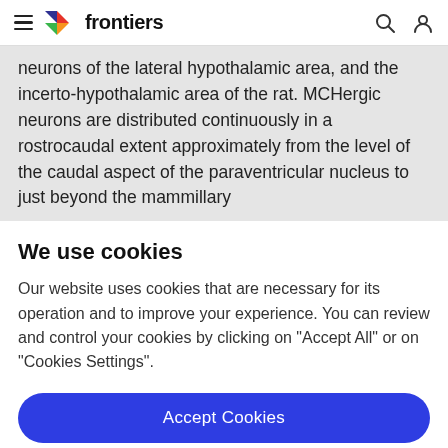frontiers
neurons of the lateral hypothalamic area, and the incerto-hypothalamic area of the rat. MCHergic neurons are distributed continuously in a rostrocaudal extent approximately from the level of the caudal aspect of the paraventricular nucleus to just beyond the mammillary
We use cookies
Our website uses cookies that are necessary for its operation and to improve your experience. You can review and control your cookies by clicking on "Accept All" or on "Cookies Settings".
Accept Cookies
Cookies Settings